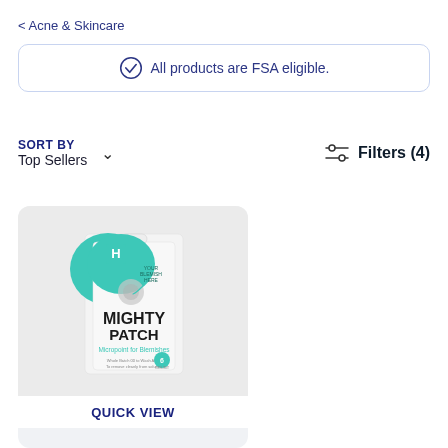< Acne & Skincare
All products are FSA eligible.
SORT BY
Top Sellers
Filters (4)
[Figure (photo): Hero Cosmetics Mighty Patch product box — white box with teal accent featuring the MIGHTY PATCH logo and 'Micropoint for Blemishes' text, 6 count]
QUICK VIEW